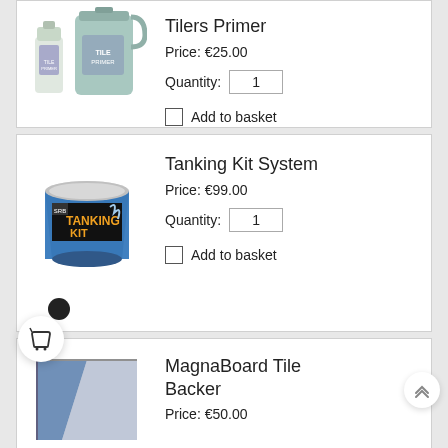[Figure (photo): Two containers of Tilers Primer product - a small bottle and a large jug, bluish-green liquid]
Tilers Primer
Price: €25.00
Quantity: 1
Add to basket
[Figure (photo): A bucket/tub of Tanking Kit System product with blue and black label]
Tanking Kit System
Price: €99.00
Quantity: 1
Add to basket
[Figure (photo): MagnaBoard Tile Backer panel - grey/blue panel shown at an angle]
MagnaBoard Tile Backer
Price: €50.00